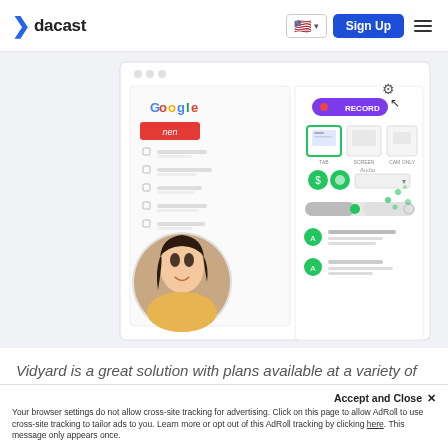dacast
[Figure (screenshot): Screenshot of a video recording interface showing Google Meet-style recording screen selection UI with a woman's profile photo in a circle, record button, tab/screen/cam options, and chat messages below. Green decorative dots in corner.]
Vidyard is a great solution with plans available at a variety of price points.
Vidyard is a powerful solution that...virtual selling support for marketing.
Accept and Close ×
Your browser settings do not allow cross-site tracking for advertising. Click on this page to allow AdRoll to use cross-site tracking to tailor ads to you. Learn more or opt out of this AdRoll tracking by clicking here. This message only appears once.